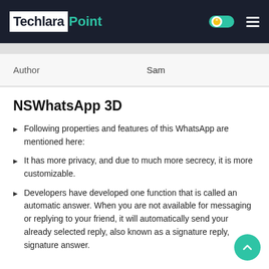Techlara Point
| Author | Sam |
| --- | --- |
NSWhatsApp 3D
Following properties and features of this WhatsApp are mentioned here:
It has more privacy, and due to much more secrecy, it is more customizable.
Developers have developed one function that is called an automatic answer. When you are not available for messaging or replying to your friend, it will automatically send your already selected reply, also known as a signature reply, signature answer.